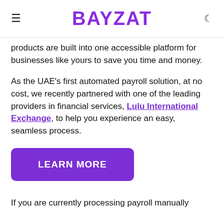BAYZAT
products are built into one accessible platform for businesses like yours to save you time and money.
As the UAE's first automated payroll solution, at no cost, we recently partnered with one of the leading providers in financial services, Lulu International Exchange, to help you experience an easy, seamless process.
LEARN MORE
If you are currently processing payroll manually